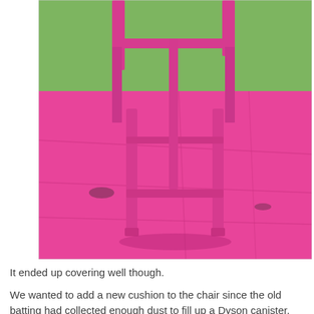[Figure (photo): A pink-painted wooden chair frame (no cushion, no seat) sitting on a large pink drop cloth or tarp outdoors on grass. The chair frame is painted in a bright hot pink/magenta color. The background shows green grass.]
It ended up covering well though.
We wanted to add a new cushion to the chair since the old batting had collected enough dust to fill up a Dyson canister. The cushion we bought was square, which meant it fit